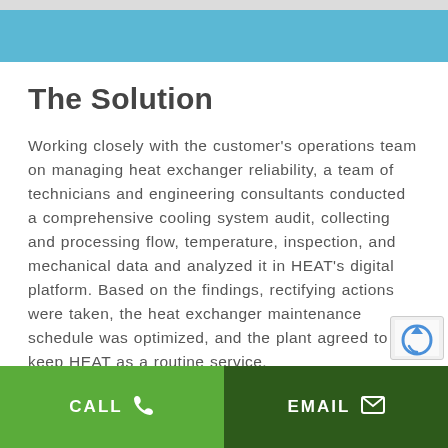The Solution
Working closely with the customer's operations team on managing heat exchanger reliability, a team of technicians and engineering consultants conducted a comprehensive cooling system audit, collecting and processing flow, temperature, inspection, and mechanical data and analyzed it in HEAT's digital platform. Based on the findings, rectifying actions were taken, the heat exchanger maintenance schedule was optimized, and the plant agreed to keep HEAT as a routine service.
CALL   EMAIL